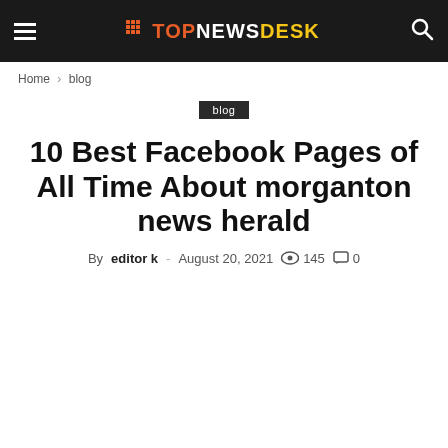TOPNEWSDESK
Home › blog
blog
10 Best Facebook Pages of All Time About morganton news herald
By editor k - August 20, 2021  145  0